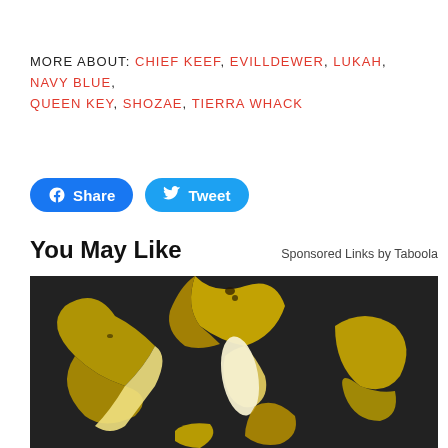MORE ABOUT: CHIEF KEEF, EVILLDEWER, LUKAH, NAVY BLUE, QUEEN KEY, SHOZAE, TIERRA WHACK
[Figure (other): Facebook Share button and Twitter Tweet button]
You May Like
Sponsored Links by Taboola
[Figure (photo): Photo of multiple banana peels on a dark background]